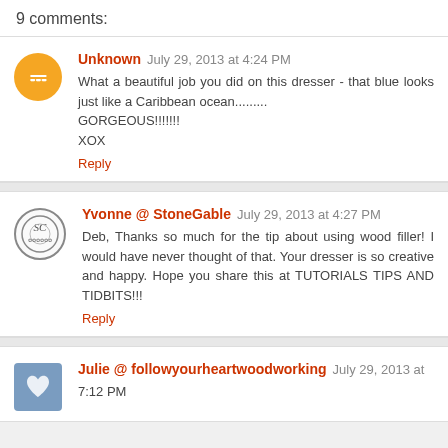9 comments:
Unknown July 29, 2013 at 4:24 PM
What a beautiful job you did on this dresser - that blue looks just like a Caribbean ocean......... GORGEOUS!!!!!!!! XOX
Reply
Yvonne @ StoneGable July 29, 2013 at 4:27 PM
Deb, Thanks so much for the tip about using wood filler! I would have never thought of that. Your dresser is so creative and happy. Hope you share this at TUTORIALS TIPS AND TIDBITS!!!
Reply
Julie @ followyourheartwoodworking July 29, 2013 at 7:12 PM